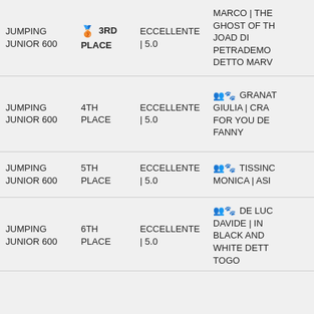| Event | Place | Score | Participant |
| --- | --- | --- | --- |
| JUMPING JUNIOR 600 | 🥉 3RD PLACE | ECCELLENTE | 5.0 | MARCO | THE GHOST OF TH JOAD DI PETRADEMC DETTO MARV |
| JUMPING JUNIOR 600 | 4TH PLACE | ECCELLENTE | 5.0 | 👥🐾 GRANAT GIULIA | CRA FOR YOU DE FANNY |
| JUMPING JUNIOR 600 | 5TH PLACE | ECCELLENTE | 5.0 | 👥🐾 TISSINC MONICA | ASI |
| JUMPING JUNIOR 600 | 6TH PLACE | ECCELLENTE | 5.0 | 👥🐾 DE LUC DAVIDE | IN BLACK AND WHITE DETT TOGO |